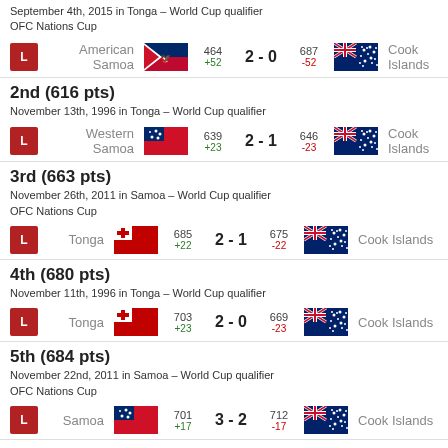September 4th, 2015 in Tonga – World Cup qualifier
OFC Nations Cup
American Samoa 464 +52  2 - 0  687 -52 Cook Islands
2nd (616 pts)
November 13th, 1996 in Tonga – World Cup qualifier
Western Samoa 639 +23  2 - 1  646 -23 Cook Islands
3rd (663 pts)
November 26th, 2011 in Samoa – World Cup qualifier
OFC Nations Cup
Tonga 685 +22  2 - 1  675 -22 Cook Islands
4th (680 pts)
November 11th, 1996 in Tonga – World Cup qualifier
Tonga 703 +23  2 - 0  669 -23 Cook Islands
5th (684 pts)
November 22nd, 2011 in Samoa – World Cup qualifier
OFC Nations Cup
Samoa 701 +17  3 - 2  712 -17 Cook Islands
Most points won in a game